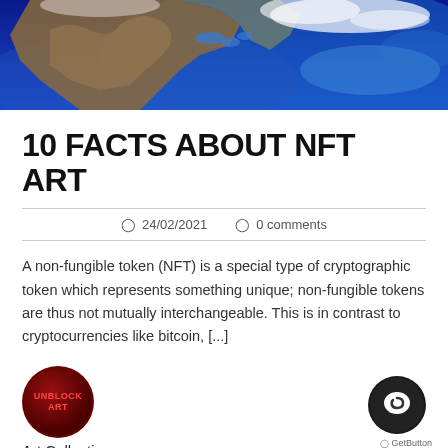[Figure (photo): Satellite view of North America from space with blue ocean background and cloud formations]
10 FACTS ABOUT NFT ART
24/02/2021   0 comments
A non-fungible token (NFT) is a special type of cryptographic token which represents something unique; non-fungible tokens are thus not mutually interchangeable. This is in contrast to cryptocurrencies like bitcoin, [...]
[Figure (logo): Dark red circular logo with text UNBLOCK ART]
Art Collecting
[Figure (other): Black circular chat button icon]
GetButton